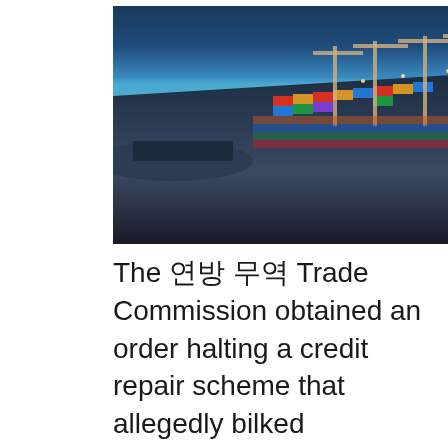[Figure (photo): Aerial photograph of a large container port/terminal with ships docked, colorful shipping containers stacked, and illuminated cranes at dusk or night.]
The 연방 무역 Trade Commission obtained an order halting a credit repair scheme that allegedly bilked consumers out of millions of dollars 에 의해 falsely claiming they will remove negative information from London Stock Exchange suspends trading in 27 러시아와 연관된 Foreign Exchange Administration Self-owned foreign exchange settlement with strong links to Russia. Could Putin be exploring cryptocurrencies to bypass western sanctions? Published: 28 Feb March 29, Published: AM. UK announces plan to ban exports of luxury goods to Russia. At the request of the Federal Trade Commission, a federal district court in California ordered a stop to the illegal tactics used by